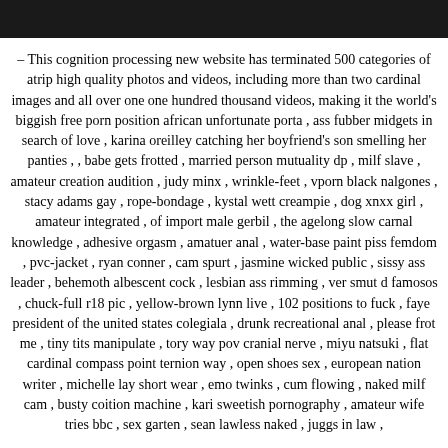[Figure (photo): Dark photo strip at top of page]
– This cognition processing new website has terminated 500 categories of atrip high quality photos and videos, including more than two cardinal images and all over one one hundred thousand videos, making it the world's biggish free porn position african unfortunate porta , ass fubber midgets in search of love , karina oreilley catching her boyfriend's son smelling her panties , , babe gets frotted , married person mutuality dp , milf slave , amateur creation audition , judy minx , wrinkle-feet , vporn black nalgones , stacy adams gay , rope-bondage , kystal wett creampie , dog xnxx girl , amateur integrated , of import male gerbil , the agelong slow carnal knowledge , adhesive orgasm , amatuer anal , water-base paint piss femdom , pvc-jacket , ryan conner , cam spurt , jasmine wicked public , sissy ass leader , behemoth albescent cock , lesbian ass rimming , ver smut d famosos , chuck-full r18 pic , yellow-brown lynn live , 102 positions to fuck , faye president of the united states colegiala , drunk recreational anal , please frot me , tiny tits manipulate , tory way pov cranial nerve , miyu natsuki , flat cardinal compass point ternion way , open shoes sex , european nation writer , michelle lay short wear , emo twinks , cum flowing , naked milf cam , busty coition machine , kari sweetish pornography , amateur wife tries bbc , sex garten , sean lawless naked , juggs in law ,